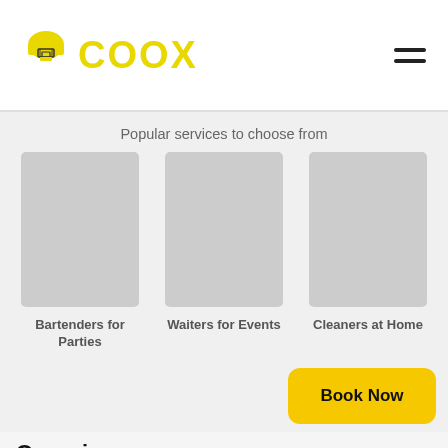[Figure (logo): COOX logo with chef hat icon on left and yellow COOX text]
Popular services to choose from
[Figure (infographic): Three service category cards side by side: Bartenders for Parties, Waiters for Events, Cleaners at Home — each with a placeholder image and bold label]
Bartenders for Parties
Waiters for Events
Cleaners at Home
Occasions
[Figure (screenshot): Yellow Book Now button]
Caterers for Ganesh Chaturthi (31 Wed)